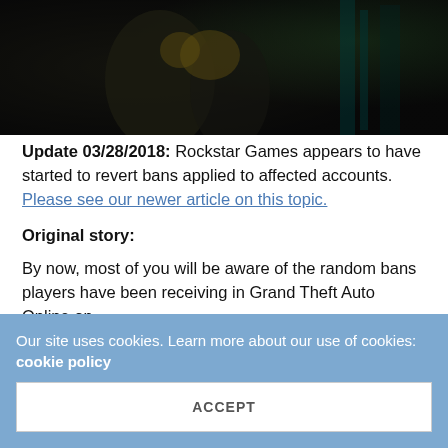[Figure (photo): Dark blurry photo showing figures, appears to be a gaming scene]
Update 03/28/2018: Rockstar Games appears to have started to revert bans applied to affected accounts. Please see our newer article on this topic.
Original story:
By now, most of you will be aware of the random bans players have been receiving in Grand Theft Auto Online on
Our site uses cookies. Learn more about our use of cookies: cookie policy
ACCEPT